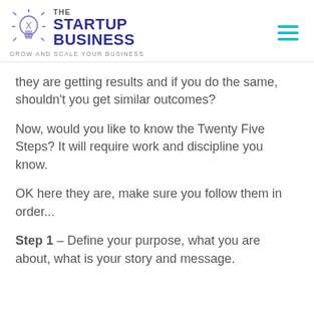THE STARTUP BUSINESS — GROW AND SCALE YOUR BUSINESS
they are getting results and if you do the same, shouldn't you get similar outcomes?
Now, would you like to know the Twenty Five Steps? It will require work and discipline you know.
OK here they are, make sure you follow them in order...
Step 1 – Define your purpose, what you are about, what is your story and message.